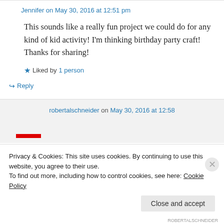Jennifer on May 30, 2016 at 12:51 pm
This sounds like a really fun project we could do for any kind of kid activity! I'm thinking birthday party craft! Thanks for sharing!
Liked by 1 person
Reply
robertalschneider on May 30, 2016 at 12:58
Privacy & Cookies: This site uses cookies. By continuing to use this website, you agree to their use.
To find out more, including how to control cookies, see here: Cookie Policy
Close and accept